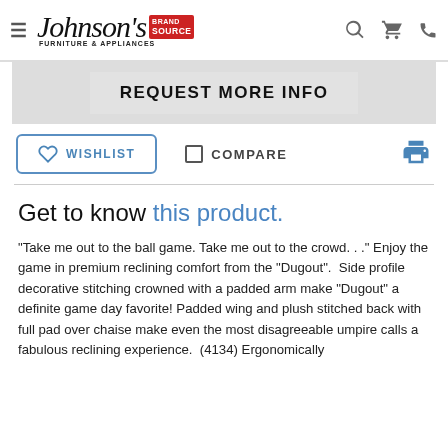Johnson's Furniture & Appliances Brand Source
REQUEST MORE INFO
WISHLIST   COMPARE
Get to know this product.
"Take me out to the ball game. Take me out to the crowd. . ." Enjoy the game in premium reclining comfort from the "Dugout".  Side profile decorative stitching crowned with a padded arm make "Dugout" a definite game day favorite! Padded wing and plush stitched back with full pad over chaise make even the most disagreeable umpire calls a fabulous reclining experience.  (4134) Ergonomically